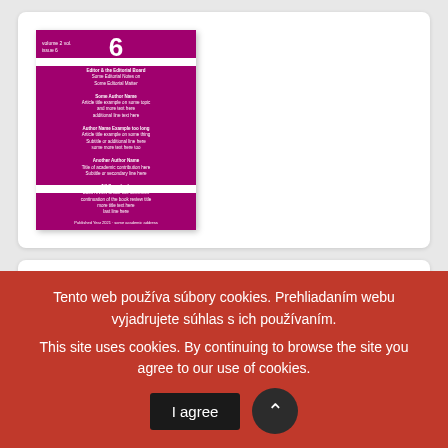[Figure (illustration): Journal cover with magenta/purple background showing issue number 6 and article listings]
Current Volume
Issue 1
Issue 4
Issue 2 (partially visible)
Issue 5 (partially visible)
Tento web používa súbory cookies. Prehliadaním webu vyjadrujete súhlas s ich používaním. This site uses cookies. By continuing to browse the site you agree to our use of cookies.